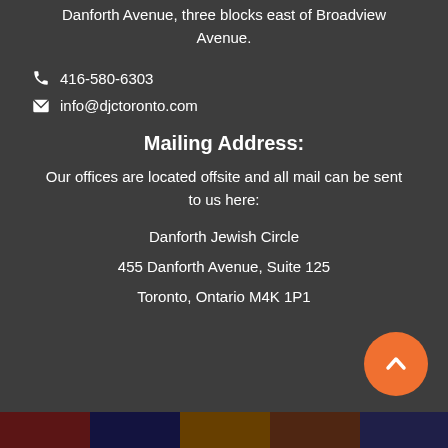Danforth Avenue, three blocks east of Broadview Avenue.
416-580-6303
info@djctoronto.com
Mailing Address:
Our offices are located offsite and all mail can be sent to us here:
Danforth Jewish Circle
455 Danforth Avenue, Suite 125
Toronto, Ontario M4K 1P1
[Figure (illustration): Orange circular back-to-top button with upward chevron arrow]
[Figure (photo): Footer strip with colorful photo thumbnails]